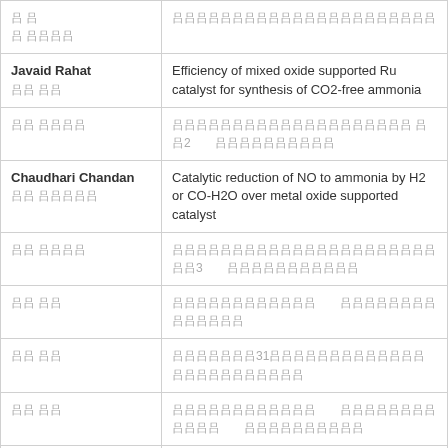| Author | Title |
| --- | --- |
| [CJK] [CJK CJK CJK CJK CJK] | [CJK x22] |
| Javaid Rahat [CJK CJK] | Efficiency of mixed oxide supported Ru catalyst for synthesis of CO2-free ammonia |
| [CJK CJK CJK CJK] | [CJK x20] [CJK]2 [CJK x10] |
| Chaudhari Chandan [CJK CJK CJK CJK CJK] | Catalytic reduction of NO to ammonia by H2 or CO-H2O over metal oxide supported catalyst |
| [CJK CJK CJK CJK] | [CJK x22] [CJK]3 [CJK x10] |
| [CJK CJK] | [CJK x12] [CJK x14] |
| [CJK CJK] | [CJK x7]31[CJK x24] |
| [CJK CJK] | [CJK x12] [CJK x12] [CJK x10] |
| Javaid Rahat[CJK CJK] | Efficient and cost-effective mixed oxide supported Ru catalyst for ammonia synthesis |
| Maher Abdolraso... | Artificial Neural Networks Based Optimization... |